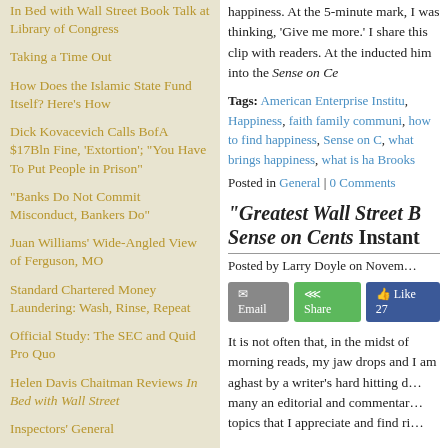In Bed with Wall Street Book Talk at Library of Congress
Taking a Time Out
How Does the Islamic State Fund Itself? Here's How
Dick Kovacevich Calls BofA $17Bln Fine, 'Extortion'; "You Have To Put People in Prison"
"Banks Do Not Commit Misconduct, Bankers Do"
Juan Williams' Wide-Angled View of Ferguson, MO
Standard Chartered Money Laundering: Wash, Rinse, Repeat
Official Study: The SEC and Quid Pro Quo
Helen Davis Chaitman Reviews In Bed with Wall Street
Inspectors' General
happiness. At the 5-minute mark, I was thinking, 'Give me more.' I share this clip with readers. At the inducted him into the Sense on Cents
Tags: American Enterprise Institute, Happiness, faith family community, how to find happiness, Sense on Cents, what brings happiness, what is happiness, Arthur Brooks
Posted in General | 0 Comments
"Greatest Wall Street B... Sense on Cents Instant...
Posted by Larry Doyle on Novem...
It is not often that, in the midst of morning reads, my jaw drops and I am aghast by a writer's hard hitting d... many an editorial and commentar... topics that I appreciate and find ri...